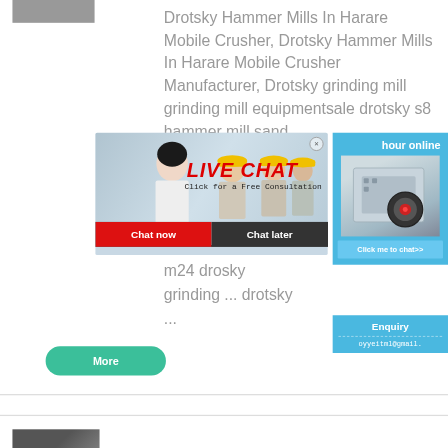[Figure (photo): Partial top image, cut off at top]
Drotsky Hammer Mills In Harare Mobile Crusher, Drotsky Hammer Mills In Harare Mobile Crusher Manufacturer, Drotsky grinding mill grinding mill equipmentsale drotsky s8 hammer mill sand
[Figure (photo): Live Chat popup with workers in yellow hard hats, woman smiling in foreground. Title: LIVE CHAT. Subtitle: Click for a Free Consultation. Buttons: Chat now, Chat later.]
m24 drosky grinding ... drotsky ...
[Figure (photo): Right sidebar showing crusher machine image with blue background]
hour online
Click me to chat>>
Enquiry
oyyeitml@gmail.
[Figure (photo): More button - teal rounded rectangle]
More
[Figure (photo): Bottom card image, partial view]